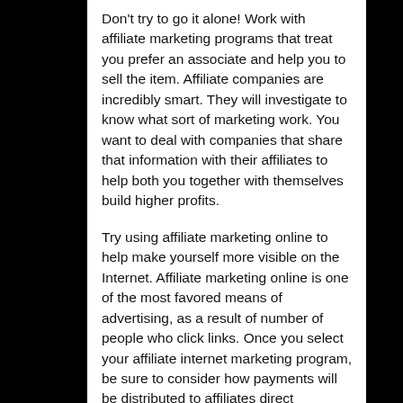Don't try to go it alone! Work with affiliate marketing programs that treat you prefer an associate and help you to sell the item. Affiliate companies are incredibly smart. They will investigate to know what sort of marketing work. You want to deal with companies that share that information with their affiliates to help both you together with themselves build higher profits.
Try using affiliate marketing online to help make yourself more visible on the Internet. Affiliate marketing online is one of the most favored means of advertising, as a result of number of people who click links. Once you select your affiliate internet marketing program, be sure to consider how payments will be distributed to affiliates direct...